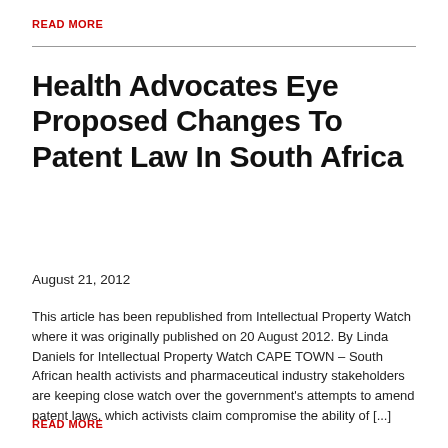READ MORE
Health Advocates Eye Proposed Changes To Patent Law In South Africa
August 21, 2012
This article has been republished from Intellectual Property Watch where it was originally published on 20 August 2012. By Linda Daniels for Intellectual Property Watch CAPE TOWN – South African health activists and pharmaceutical industry stakeholders are keeping close watch over the government's attempts to amend patent laws, which activists claim compromise the ability of [...]
READ MORE